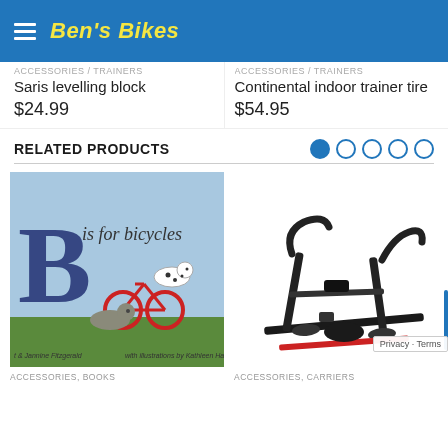Ben's Bikes
Saris levelling block
$24.99
Continental indoor trainer tire
$54.95
RELATED PRODUCTS
[Figure (screenshot): Book cover: B is for Bicycles, illustrated children's book by Jannine Fitzgerald with illustrations by Kathleen Ha...]
ACCESSORIES, BOOKS
[Figure (photo): Black bicycle carrier/rack with multiple arms and clamps, shown on white background.]
ACCESSORIES, CARRIERS